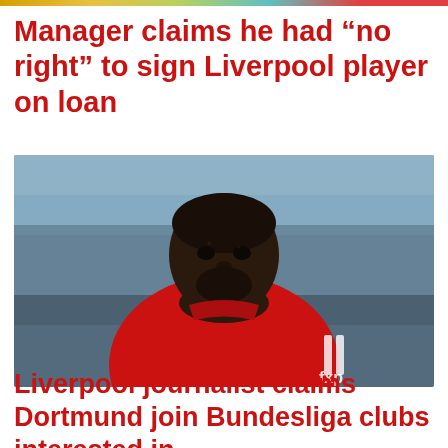Manager claims he had “no right” to sign Liverpool player on loan
[Figure (photo): A Liverpool football player in a red kit with 'fxp' sponsor, photographed mid-action with a blurred stadium background]
Liverpool journalist claims Dortmund join Bundesliga clubs interested in